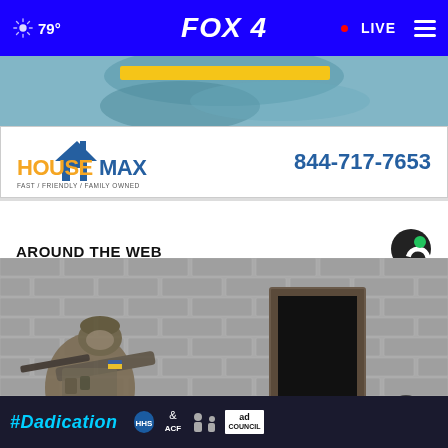FOX 4 | 79° | LIVE
[Figure (photo): HouseMax advertisement banner with house logo, phone number 844-717-7653, and tagline FAST / FRIENDLY / FAMILY OWNED]
AROUND THE WEB
[Figure (photo): News photo of a soldier in military gear aiming a rifle near a brick wall doorway]
[Figure (infographic): #Dadication advertisement featuring ACF and Ad Council logos on dark background]